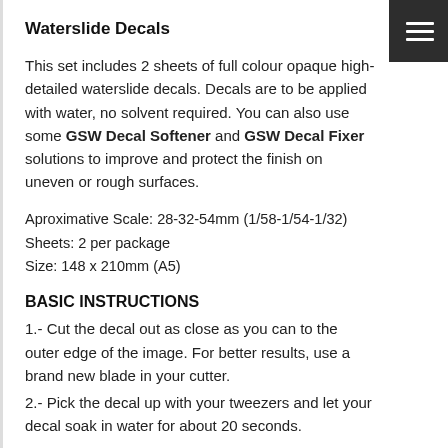Waterslide Decals
This set includes 2 sheets of full colour opaque high-detailed waterslide decals. Decals are to be applied with water, no solvent required. You can also use some GSW Decal Softener and GSW Decal Fixer solutions to improve and protect the finish on uneven or rough surfaces.
Aproximative Scale: 28-32-54mm (1/58-1/54-1/32)
Sheets: 2 per package
Size: 148 x 210mm (A5)
BASIC INSTRUCTIONS
1.- Cut the decal out as close as you can to the outer edge of the image. For better results, use a brand new blade in your cutter.
2.- Pick the decal up with your tweezers and let your decal soak in water for about 20 seconds.